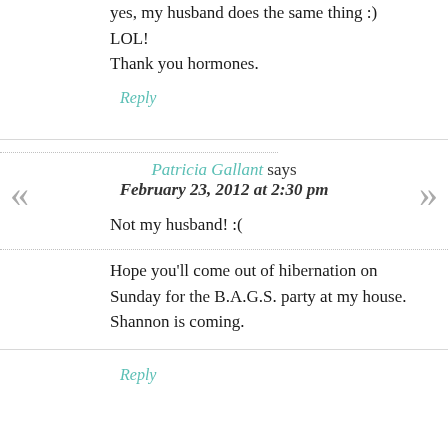yes, my husband does the same thing :) LOL!
Thank you hormones.
Reply
Patricia Gallant says
February 23, 2012 at 2:30 pm
Not my husband! :(
Hope you'll come out of hibernation on Sunday for the B.A.G.S. party at my house. Shannon is coming.
Reply